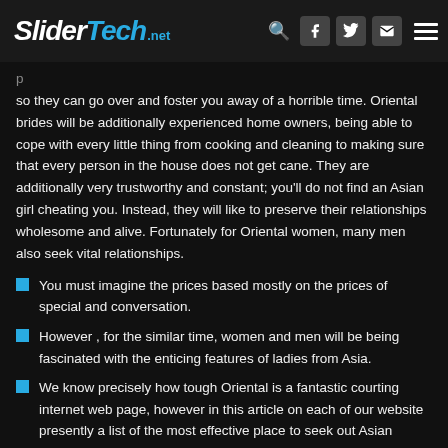SliderTech.net
so they can go over and foster you away of a horrible time. Oriental brides will be additionally experienced home owners, being able to cope with every little thing from cooking and cleaning to making sure that every person in the house does not get cane. They are additionally very trustworthy and constant; you'll do not find an Asian girl cheating you. Instead, they will like to preserve their relationships wholesome and alive. Fortunately for Oriental women, many men also seek vital relationships.
You must imagine the prices based mostly on the prices of special and conversation.
However , for the similar time, women and men will be being fascinated with the enticing features of ladies from Asia.
We know precisely how tough Oriental is a fantastic courting internet web page, however in this article on each of our website presently a list of the most effective place to seek out Asian bride's submit.